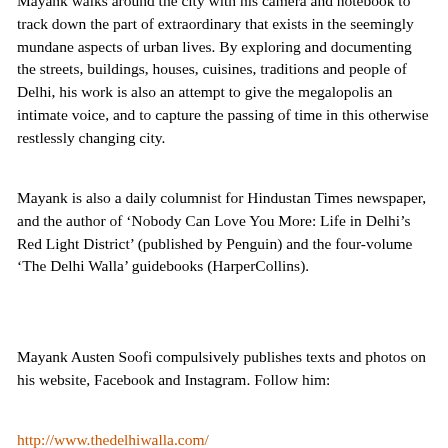Mayank walks around the city with his camera and notebook to track down the part of extraordinary that exists in the seemingly mundane aspects of urban lives. By exploring and documenting the streets, buildings, houses, cuisines, traditions and people of Delhi, his work is also an attempt to give the megalopolis an intimate voice, and to capture the passing of time in this otherwise restlessly changing city.
Mayank is also a daily columnist for Hindustan Times newspaper, and the author of ‘Nobody Can Love You More: Life in Delhi’s Red Light District’ (published by Penguin) and the four-volume ‘The Delhi Walla’ guidebooks (HarperCollins).
Mayank Austen Soofi compulsively publishes texts and photos on his website, Facebook and Instagram. Follow him:
http://www.thedelhiwalla.com/